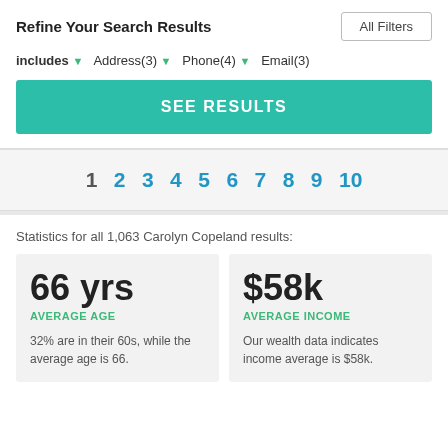Refine Your Search Results
Includes ▼  Address(3) ▼  Phone(4) ▼  Email(3)
SEE RESULTS
1  2  3  4  5  6  7  8  9  10
Statistics for all 1,063 Carolyn Copeland results:
66 yrs
AVERAGE AGE
32% are in their 60s, while the average age is 66.
$58k
AVERAGE INCOME
Our wealth data indicates income average is $58k.